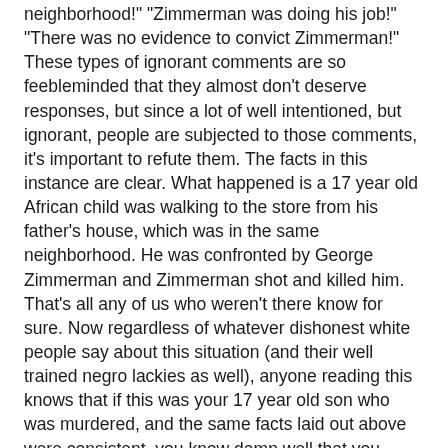neighborhood!"  "Zimmerman was doing his job!"  "There was no evidence to convict Zimmerman!"  These types of ignorant comments are so feebleminded that they almost don't deserve responses, but since a lot of well intentioned, but ignorant, people are subjected to those comments, it's important to refute them.  The facts in this instance are clear.  What happened is a 17 year old African child was walking to the store from his father's house, which was in the same neighborhood.  He was confronted by George Zimmerman and Zimmerman shot and killed him.  That's all any of us who weren't there know for sure.  Now regardless of whatever dishonest white people say about this situation (and their well trained negro lackies as well), anyone reading this knows that if this was your 17 year old son who was murdered, and the same facts laid out above were consistent, you know damn well that you would be yelling from the mountain top that Zimmerman is a murderer.

So since we all know the above, how does this type of thing happen in a so-called civilized society?  Well, the answer is this obviously isn't a civilized society.  We can't ever confuse technology with civilization.  The truth is this is an extremely barbaric society where money is more important than people.  It's a society where African life was introduced